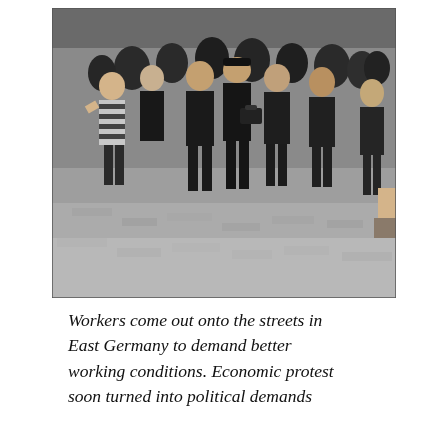[Figure (photo): Black and white photograph of workers marching in the streets of East Germany. A crowd of men, some in dark clothing, walk together; a young woman in a striped shirt is visible on the left, and a man carries a briefcase in the center. Onlookers are visible on the sides.]
Workers come out onto the streets in East Germany to demand better working conditions. Economic protest soon turned into political demands